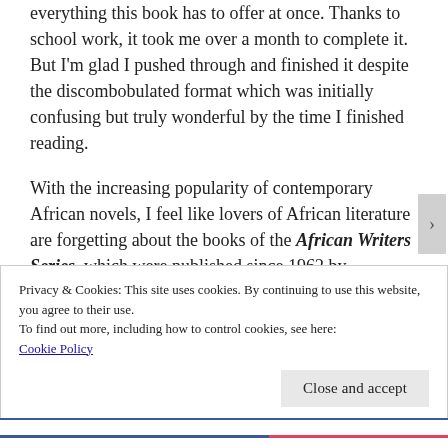everything this book has to offer at once. Thanks to school work, it took me over a month to complete it. But I'm glad I pushed through and finished it despite the discombobulated format which was initially confusing but truly wonderful by the time I finished reading.
With the increasing popularity of contemporary African novels, I feel like lovers of African literature are forgetting about the books of the African Writers Series, which were published since 1962 by Heinemann. Books in this series have been translated
Privacy & Cookies: This site uses cookies. By continuing to use this website, you agree to their use.
To find out more, including how to control cookies, see here:
Cookie Policy
Close and accept